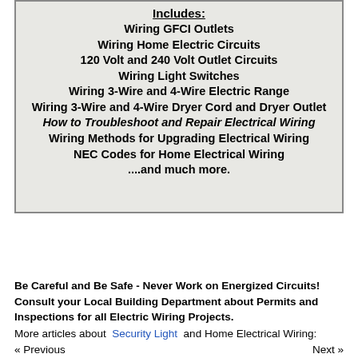Includes:
Wiring GFCI Outlets
Wiring Home Electric Circuits
120 Volt and 240 Volt Outlet Circuits
Wiring Light Switches
Wiring 3-Wire and 4-Wire Electric Range
Wiring 3-Wire and 4-Wire Dryer Cord and Dryer Outlet
How to Troubleshoot and Repair Electrical Wiring
Wiring Methods for Upgrading Electrical Wiring
NEC Codes for Home Electrical Wiring
....and much more.
Be Careful and Be Safe - Never Work on Energized Circuits! Consult your Local Building Department about Permits and Inspections for all Electric Wiring Projects.
More articles about Security Light and Home Electrical Wiring:
« Previous   Next »